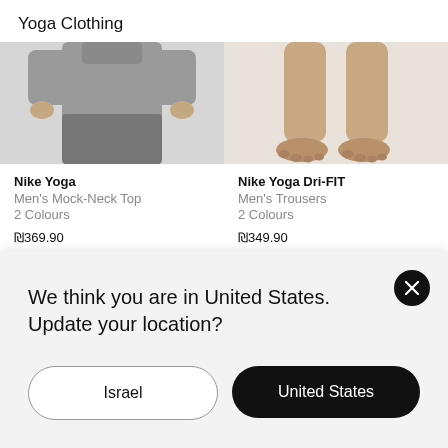Yoga Clothing
[Figure (photo): Nike Yoga Men's Mock-Neck Top - grey sweatshirt and shorts, cropped product photo]
[Figure (photo): Nike Yoga Dri-FIT Men's Trousers - feet and lower leg area, cropped product photo]
Nike Yoga
Men's Mock-Neck Top
2 Colours
₪369.90
Nike Yoga Dri-FIT
Men's Trousers
2 Colours
₪349.90
[Figure (photo): Nike yoga product - man's face, cropped bottom product row left]
[Figure (photo): Nike yoga product - yellow shorts, cropped bottom product row right]
We think you are in United States. Update your location?
Israel
United States